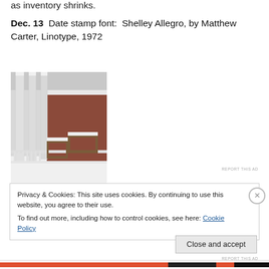as inventory shrinks.
Dec. 13  Date stamp font:  Shelley Allegro, by Matthew Carter, Linotype, 1972
[Figure (photo): Snow-covered porch with white railings, wooden chairs dusted in snow, and brick building columns in winter]
REPORT THIS AD
Privacy & Cookies: This site uses cookies. By continuing to use this website, you agree to their use.
To find out more, including how to control cookies, see here: Cookie Policy
Close and accept
REPORT THIS AD